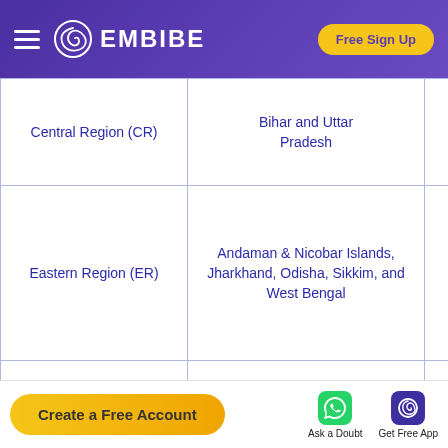EMBIBE — Free Sign Up
| Region | States/UTs |  |
| --- | --- | --- |
| Central Region (CR) | Bihar and Uttar Pradesh |  |
| Eastern Region (ER) | Andaman & Nicobar Islands, Jharkhand, Odisha, Sikkim, and West Bengal |  |
| Karnataka Kerala Region (KKR) | Lakshadweep, Karnataka, and Kerala | s |
| Madhya Pradesh | Chhattisgarh and |  |
Create a Free Account | Ask a Doubt | Get Free App